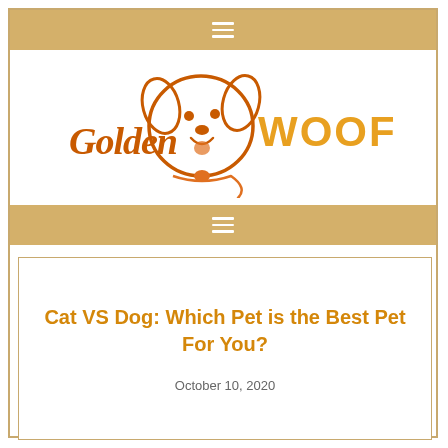[Figure (logo): Golden Woofs logo with cartoon dog face and text 'Golden WOOFS' in orange/brown colors]
Cat VS Dog: Which Pet is the Best Pet For You?
October 10, 2020